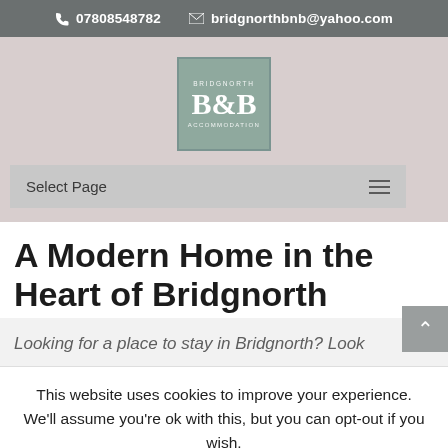07808548782   bridgnorthbnb@yahoo.com
[Figure (logo): B&B logo in a teal/sage green square with text BRIDGNORTH above and ACCOMMODATION below]
Select Page
A Modern Home in the Heart of Bridgnorth
Looking for a place to stay in Bridgnorth? Look
This website uses cookies to improve your experience. We'll assume you're ok with this, but you can opt-out if you wish.
Accept   Read More